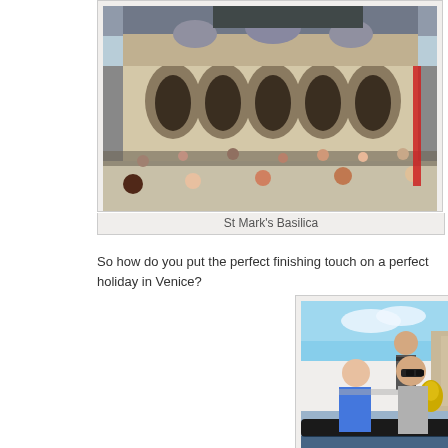[Figure (photo): St Mark's Basilica in Venice with crowds of tourists in the square in front]
St Mark's Basilica
I specially bro... if you forget to... deal as the s... shawls to wrap...
Be careful of... more like ni... grabbing visito... passed.
While it lacks t... Peter's in Ro... nonetheless.
So how do you put the perfect finishing touch on a perfect holiday in Venice?
[Figure (photo): Couple on a gondola in Venice with a gondolier standing behind them, striped mooring pole in background]